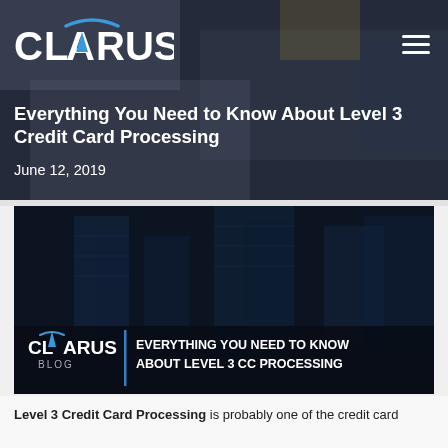[Figure (screenshot): Clarus website header with logo and hamburger menu icon on dark overlay background showing a desk with laptop]
Everything You Need to Know About Level 3 Credit Card Processing
June 12, 2019
[Figure (photo): Dark blue article feature image showing skyscrapers from below with Clarus Blog logo and text 'EVERYTHING YOU NEED TO KNOW ABOUT LEVEL 3 CC PROCESSING' overlaid at bottom]
Level 3 Credit Card Processing is probably one of the credit card